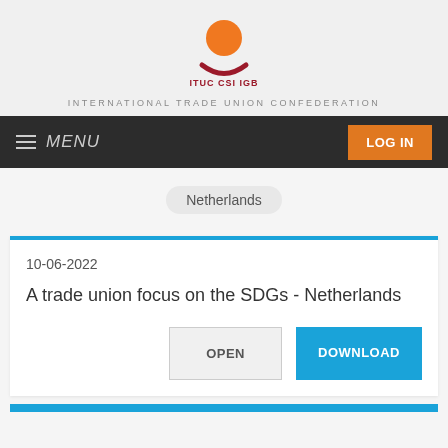[Figure (logo): ITUC CSI IGB logo — orange circle above a red curved line, with text ITUC CSI IGB in red below]
INTERNATIONAL TRADE UNION CONFEDERATION
MENU  LOG IN
Netherlands
10-06-2022
A trade union focus on the SDGs - Netherlands
OPEN  DOWNLOAD